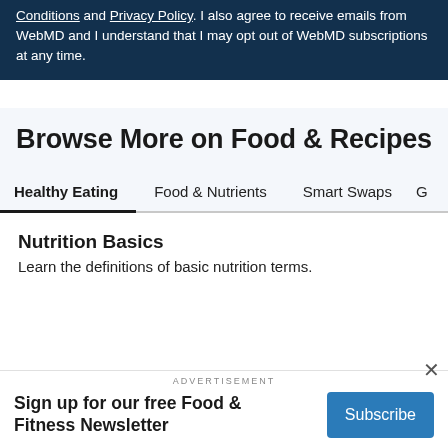Conditions and Privacy Policy. I also agree to receive emails from WebMD and I understand that I may opt out of WebMD subscriptions at any time.
Browse More on Food & Recipes
Healthy Eating
Food & Nutrients
Smart Swaps
G
Nutrition Basics
Learn the definitions of basic nutrition terms.
ADVERTISEMENT
Sign up for our free Food & Fitness Newsletter